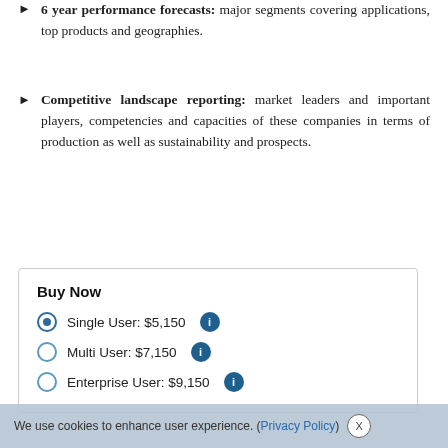6 year performance forecasts: major segments covering applications, top products and geographies.
Competitive landscape reporting: market leaders and important players, competencies and capacities of these companies in terms of production as well as sustainability and prospects.
Buy Now
Single User: $5,150
Multi User: $7,150
Enterprise User: $9,150
We use cookies to enhance user experience. (Privacy Policy)